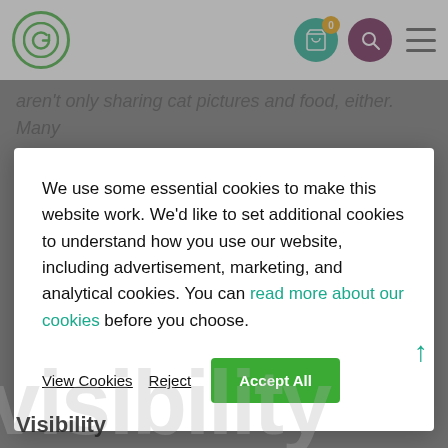[Figure (screenshot): Website header with green G logo, teal cart icon with orange badge showing 0, dark purple search icon, and hamburger menu icon on grey background]
aren't only sharing cat pictures and food, either. Many of those are researching locally...
We use some essential cookies to make this website work. We'd like to set additional cookies to understand how you use our website, including advertisement, marketing, and analytical cookies. You can read more about our cookies before you choose.
View Cookies   Reject   Accept All
visibility
Visibility